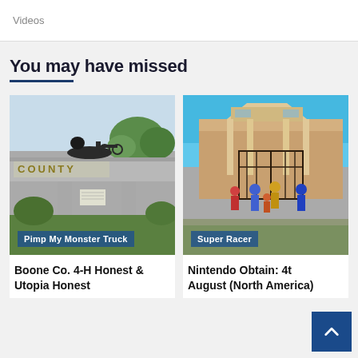Videos
You may have missed
[Figure (photo): Photo of a county overpass sign with a horse-drawn carriage sculpture on top, with trees and greenery below. Overlay label reads 'Pimp My Monster Truck'.]
[Figure (illustration): Animated/CGI image of cartoon children characters gathered in front of an ornate metal gate and brick building. Overlay label reads 'Super Racer'.]
Boone Co. 4-H Honest & Utopia Honest
Nintendo Obtain: 4t August (North America)